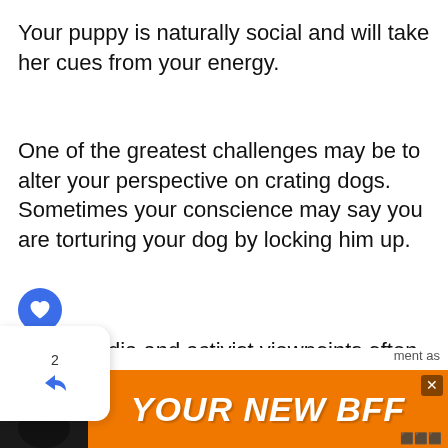Your puppy is naturally social and will take her cues from your energy.
One of the greatest challenges may be to alter your perspective on crating dogs. Sometimes your conscience may say you are torturing your dog by locking him up.
dia and activist viewpoints often feed emotional not necessarily objective concerns about pet crates, according to renowned dog psychologist n.
[Figure (screenshot): Web page UI overlay with like button (blue circle with heart), share button with count '2', and 'WHAT'S NEXT' navigation showing 'What Does Parvo Poop...' link with dog icon]
[Figure (infographic): Orange advertisement banner with black dog silhouette on left and bold italic white text reading 'YOUR NEW BFF' on orange background, with close X button and small icons]